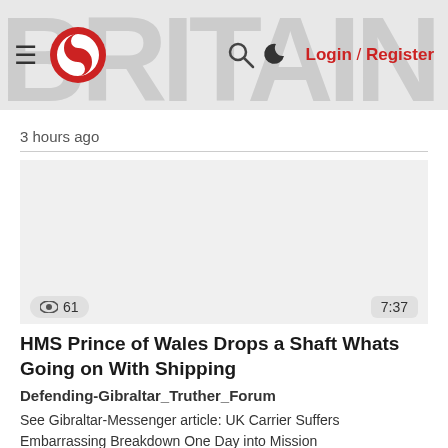BRITAIN — [logo] — Login / Register
3 hours ago
[Figure (other): Video thumbnail placeholder area (blank/grey) with view count 61 and duration 7:37]
HMS Prince of Wales Drops a Shaft Whats Going on With Shipping
Defending-Gibraltar_Truther_Forum
See Gibraltar-Messenger article: UK Carrier Suffers Embarrassing Breakdown One Day into Mission
https://gibraltar-messenger.net/ww3/uk-carrier-suffers-breakdown/2...